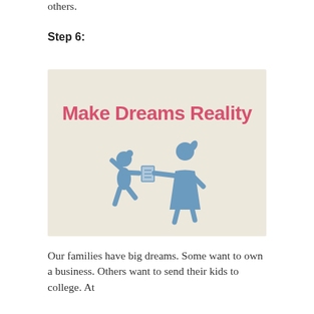others.
Step 6:
[Figure (illustration): Infographic with beige background. Bold pink text reads 'Make Dreams Reality'. Below the text, two blue stylized human figures: a small child figure with one arm raised, and a taller adult figure handing a document to the child.]
Our families have big dreams. Some want to own a business. Others want to send their kids to college. At